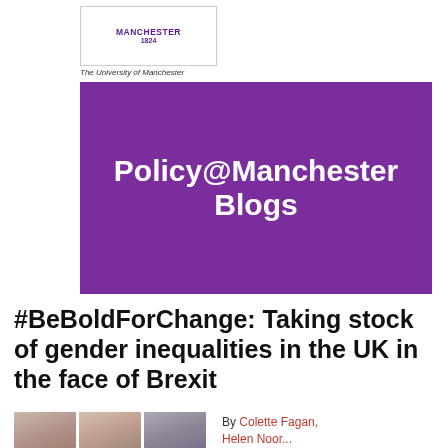[Figure (logo): University of Manchester logo with crest, text MANCHESTER 1824, and tagline The University of Manchester]
[Figure (illustration): Purple banner with white bold text reading Policy@Manchester Blogs]
#BeBoldForChange: Taking stock of gender inequalities in the UK in the face of Brexit
[Figure (photo): Three author headshot photos side by side]
By Colette Fagan, Helen Noor...